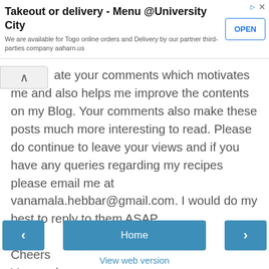[Figure (screenshot): Advertisement banner: 'Takeout or delivery - Menu @University City' with OPEN button. Text: 'We are available for Togo online orders and Delivery by our partner third-parties company aaharn.us']
ate your comments which motivates me and also helps me improve the contents on my Blog. Your comments also make these posts much more interesting to read. Please do continue to leave your views and if you have any queries regarding my recipes please email me at vanamala.hebbar@gmail.com. I would do my best to reply to them ASAP.

Cheers
Vanamala
[Figure (screenshot): Navigation buttons: left arrow, Home, right arrow, and View web version link]